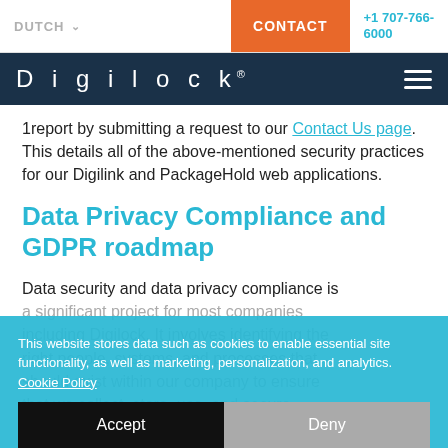DUTCH   CONTACT   +1 707-766-6000
Digilock
1report by submitting a request to our Contact Us page. This details all of the above-mentioned security practices for our Digilink and PackageHold web applications.
Data Privacy Compliance and GDPR roadmap
Data security and data privacy compliance is a significant project for most companies including Digilock. It involves identifying the right people, systems, and processes that should exist within our company to ensure that we collect, store, use, and secure private information...
This website stores data such as cookies to enable essential site functionality, as well as marketing, personalization, and analytics. Cookie Policy